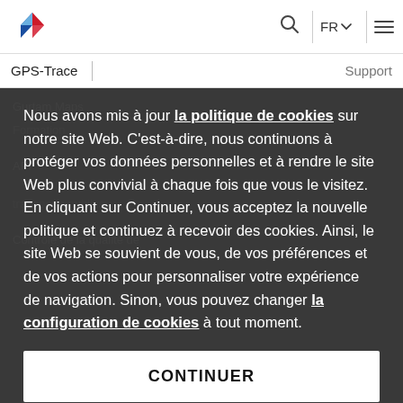[Figure (logo): Diamond/rhombus logo in blue and red colors]
GPS-Trace    Support    FR    Search    Menu
Nous avons mis à jour la politique de cookies sur notre site Web. C'est-à-dire, nous continuons à protéger vos données personnelles et à rendre le site Web plus convivial à chaque fois que vous le visitez. En cliquant sur Continuer, vous acceptez la nouvelle politique et continuez à recevoir des cookies. Ainsi, le site Web se souvient de vous, de vos préférences et de vos actions pour personnaliser votre expérience de navigation. Sinon, vous pouvez changer la configuration de cookies à tout moment.
CONTINUER